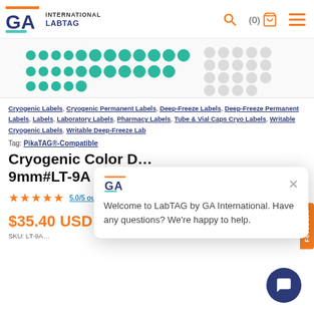GA International LabTag — Navigation header with logo, search, cart (0), menu
[Figure (photo): Product image strip showing rows of small green circular cryogenic dot labels on a sheet, with grey/white dot labels partially visible on the right side]
Cryogenic Labels, Cryogenic Permanent Labels, Deep-Freeze Labels, Deep-Freeze Permanent Labels, Labels, Laboratory Labels, Pharmacy Labels, Tube & Vial Caps Cryo Labels, Writable Cryogenic Labels, Writable Deep-Freeze Lab
Tag: PikaTAG®-Compatible
Cryogenic Color D… 9mm#LT-9A (15 A…
5.0/5 out of 2 reviews (View All)
$35.40 USD
Welcome to LabTAG by GA International. Have any questions? We're happy to help.